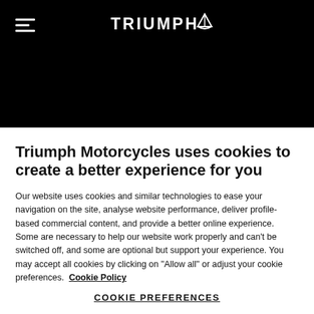TRIUMPH [logo]
Totally exclusive, the stunning & dynamic, high specification
Triumph Motorcycles uses cookies to create a better experience for you
Our website uses cookies and similar technologies to ease your navigation on the site, analyse website performance, deliver profile-based commercial content, and provide a better online experience. Some are necessary to help our website work properly and can't be switched off, and some are optional but support your experience. You may accept all cookies by clicking on "Allow all" or adjust your cookie preferences. Cookie Policy
COOKIE PREFERENCES